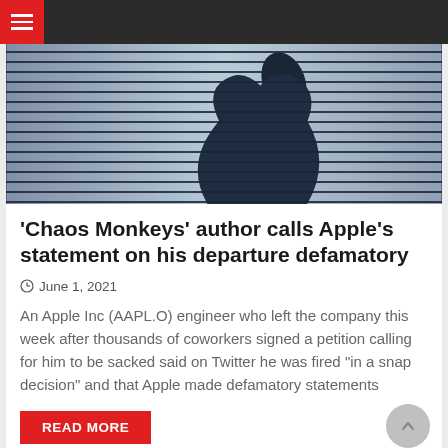Navigation bar with hamburger menu
[Figure (photo): Photo of an Apple logo visible through venetian blinds, blue-tinted, black and white silhouette style]
‘Chaos Monkeys’ author calls Apple’s statement on his departure defamatory
June 1, 2021
An Apple Inc (AAPL.O) engineer who left the company this week after thousands of coworkers signed a petition calling for him to be sacked said on Twitter he was fired “in a snap decision” and that Apple made defamatory statements
READ MORE